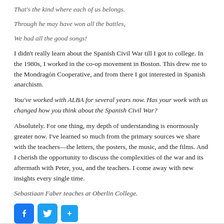That's the kind where each of us belongs.
Through he may have won all the battles,
We had all the good songs!
I didn't really learn about the Spanish Civil War till I got to college. In the 1980s, I worked in the co-op movement in Boston. This drew me to the Mondragón Cooperative, and from there I got interested in Spanish anarchism.
You've worked with ALBA for several years now. Has your work with us changed how you think about the Spanish Civil War?
Absolutely. For one thing, my depth of understanding is enormously greater now. I've learned so much from the primary sources we share with the teachers—the letters, the posters, the music, and the films. And I cherish the opportunity to discuss the complexities of the war and its aftermath with Peter, you, and the teachers. I come away with new insights every single time.
Sebastiaan Faber teaches at Oberlin College.
[Figure (other): Social sharing buttons: Facebook, Twitter, and a plus button]